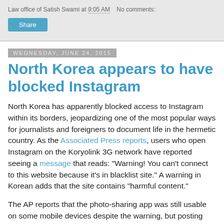Law office of Satish Swami at 9:05 AM   No comments:
Share
Wednesday, June 24, 2015
North Korea appears to have blocked Instagram
North Korea has apparently blocked access to Instagram within its borders, jeopardizing one of the most popular ways for journalists and foreigners to document life in the hermetic country. As the Associated Press reports, users who open Instagram on the Koryolink 3G network have reported seeing a message that reads: "Warning! You can't connect to this website because it's in blacklist site." A warning in Korean adds that the site contains "harmful content."
The AP reports that the photo-sharing app was still usable on some mobile devices despite the warning, but posting photos or viewing user profiles was impossible on other devices